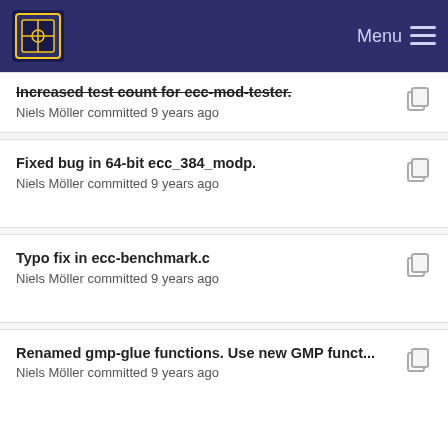Menu
Increased test count for ecc-mod-tester.
Niels Möller committed 9 years ago
Fixed bug in 64-bit ecc_384_modp.
Niels Möller committed 9 years ago
Typo fix in ecc-benchmark.c
Niels Möller committed 9 years ago
Renamed gmp-glue functions. Use new GMP funct...
Niels Möller committed 9 years ago
Fixed TMP_ALLOC, was missing parentheses.
Niels Möller committed 9 years ago